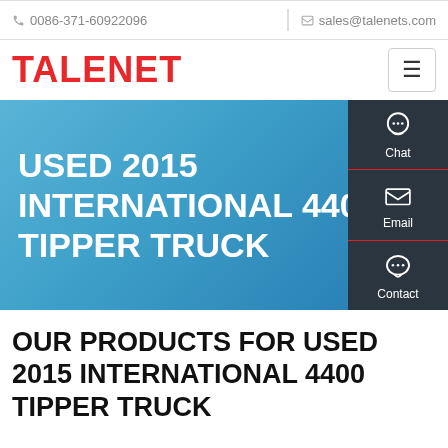0086-371-60922096   sales@talenets.com
TALENET
[Figure (screenshot): Hero banner with gradient blue background and large white text reading: USED 2015 INTERNATIONAL 4400 TIPPER TRUCK. On the right side is a dark sidebar with Chat, Email, and Contact icons.]
OUR PRODUCTS FOR USED 2015 INTERNATIONAL 4400 TIPPER TRUCK